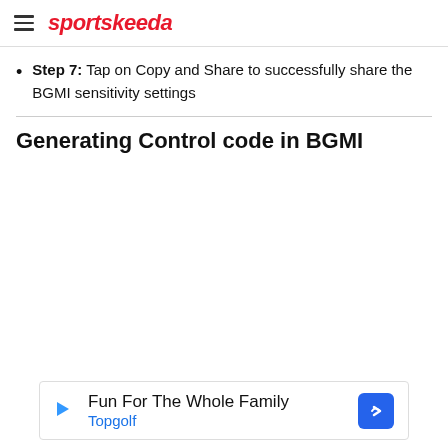sportskeeda
Step 7: Tap on Copy and Share to successfully share the BGMI sensitivity settings
Generating Control code in BGMI
[Figure (other): Advertisement banner: Fun For The Whole Family - Topgolf]